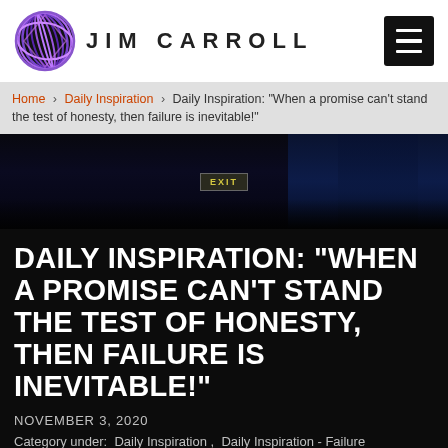JIM CARROLL
Home > Daily Inspiration > Daily Inspiration: “When a promise can’t stand the test of honesty, then failure is inevitable!”
[Figure (photo): Dark stage or auditorium scene with an exit sign visible and dramatic blue lighting on curtains]
DAILY INSPIRATION: “WHEN A PROMISE CAN’T STAND THE TEST OF HONESTY, THEN FAILURE IS INEVITABLE!”
NOVEMBER 3, 2020
Category under:  Daily Inspiration ,  Daily Inspiration - Failure